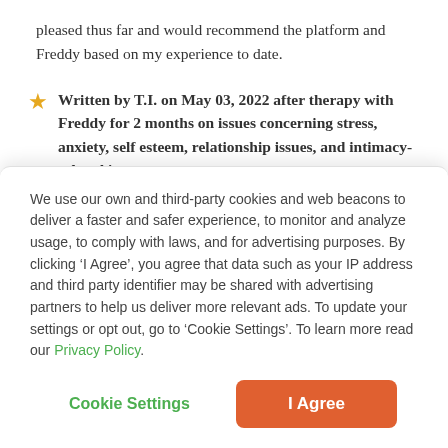pleased thus far and would recommend the platform and Freddy based on my experience to date.
Written by T.I. on May 03, 2022 after therapy with Freddy for 2 months on issues concerning stress, anxiety, self esteem, relationship issues, and intimacy-related issues
Freddy is a wonderful listener and provides great insight and
We use our own and third-party cookies and web beacons to deliver a faster and safer experience, to monitor and analyze usage, to comply with laws, and for advertising purposes. By clicking ‘I Agree’, you agree that data such as your IP address and third party identifier may be shared with advertising partners to help us deliver more relevant ads. To update your settings or opt out, go to ‘Cookie Settings’. To learn more read our Privacy Policy.
Cookie Settings
I Agree